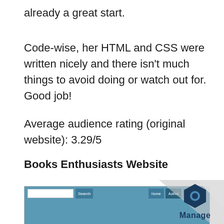already a great start.
Code-wise, her HTML and CSS were written nicely and there isn't much things to avoid doing or watch out for. Good job!
Average audience rating (original website): 3.29/5
Books Enthusiasts Website
[Figure (screenshot): Screenshot of a Books Enthusiasts website showing a navigation bar with search box, Search button, Home, Author, and Contact Us links on a blue/teal background.]